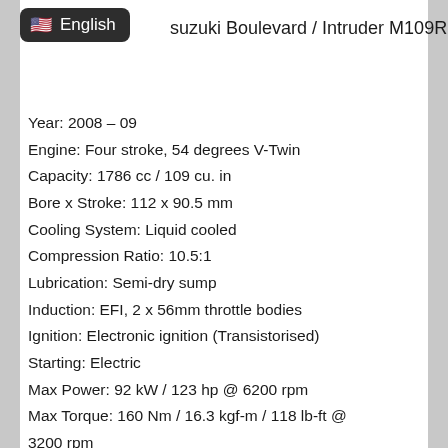English — Suzuki Boulevard / Intruder M109R
Year: 2008 – 09
Engine: Four stroke, 54 degrees V-Twin
Capacity: 1786 cc / 109 cu. in
Bore x Stroke: 112 x 90.5 mm
Cooling System: Liquid cooled
Compression Ratio: 10.5:1
Lubrication: Semi-dry sump
Induction: EFI, 2 x 56mm throttle bodies
Ignition: Electronic ignition (Transistorised)
Starting: Electric
Max Power: 92 kW / 123 hp @ 6200 rpm
Max Torque: 160 Nm / 16.3 kgf-m / 118 lb-ft @ 3200 rpm